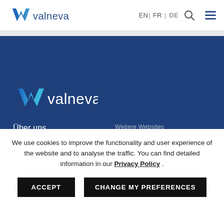[Figure (logo): Valneva logo in header — blue checkmark/W shape with 'valneva' wordmark]
EN | FR | DE [search icon] [menu icon]
[Figure (logo): Valneva logo large white version on dark blue background]
Über uns
Produkte
R&D
Investoren
Medien
Karriere
Weitere Websites
Valneva Canada
Valneva UK
Valneva Austria
Valneva USA
Valneva Nordic
Valneva France
We use cookies to improve the functionality and user experience of the website and to analyse the traffic. You can find detailed information in our Privacy Policy .
ACCEPT | CHANGE MY PREFERENCES